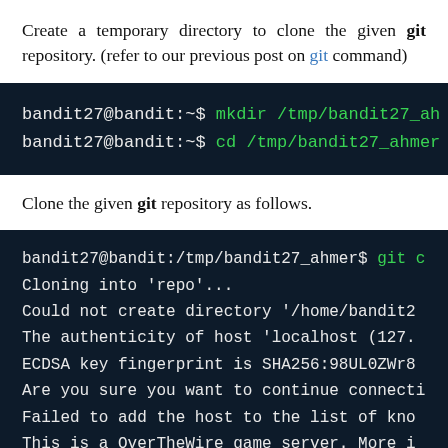Create a temporary directory to clone the given git repository. (refer to our previous post on git command)
[Figure (screenshot): Terminal showing: bandit27@bandit:~$ mkdir /tmp/bandit27_ah and bandit27@bandit:~$ cd /tmp/bandit27_ahmer]
Clone the given git repository as follows.
[Figure (screenshot): Terminal showing git clone command output: Cloning into 'repo'..., Could not create directory '/home/bandit2', The authenticity of host 'localhost (127., ECDSA key fingerprint is SHA256:98UL0ZWr8, Are you sure you want to continue connecti, Failed to add the host to the list of kno, This is a OverTheWire game server. More i]